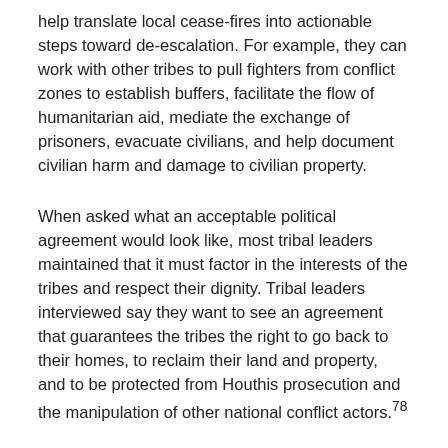help translate local cease-fires into actionable steps toward de-escalation. For example, they can work with other tribes to pull fighters from conflict zones to establish buffers, facilitate the flow of humanitarian aid, mediate the exchange of prisoners, evacuate civilians, and help document civilian harm and damage to civilian property.
When asked what an acceptable political agreement would look like, most tribal leaders maintained that it must factor in the interests of the tribes and respect their dignity. Tribal leaders interviewed say they want to see an agreement that guarantees the tribes the right to go back to their homes, to reclaim their land and property, and to be protected from Houthis prosecution and the manipulation of other national conflict actors.[78]
Although they agree that they can help in cease-fire